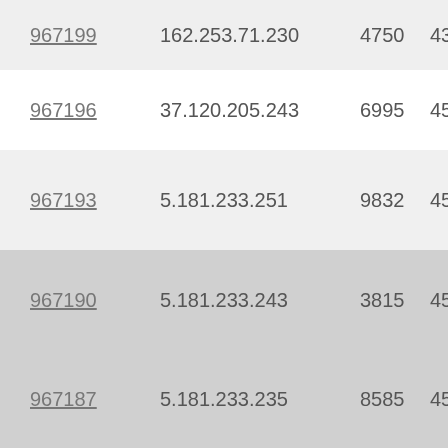| 967199 | 162.253.71.230 | 4750 | 43.666667 |
| 967196 | 37.120.205.243 | 6995 | 45.5 |
| 967193 | 5.181.233.251 | 9832 | 45.5 |
| 967190 | 5.181.233.243 | 3815 | 45.5 |
| 967187 | 5.181.233.235 | 8585 | 45.5 |